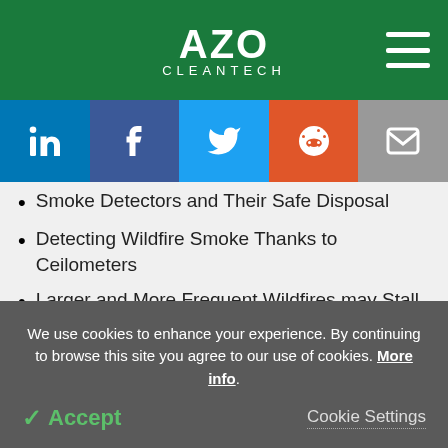AZO CLEANTECH
[Figure (infographic): Social sharing buttons: LinkedIn, Facebook, Twitter, Reddit, Email]
Smoke Detectors and Their Safe Disposal
Detecting Wildfire Smoke Thanks to Ceilometers
Larger and More Frequent Wildfires may Stall Ozone Recovery
We use cookies to enhance your experience. By continuing to browse this site you agree to our use of cookies. More info.
✓ Accept   Cookie Settings